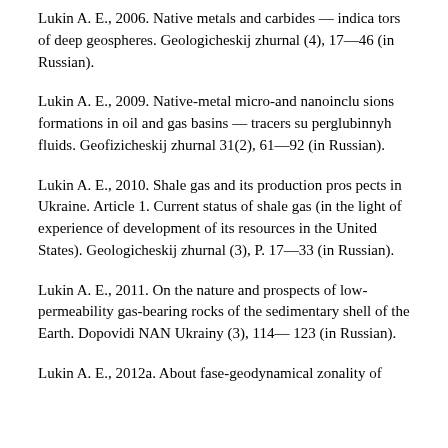Lukin A. E., 2006. Native metals and carbides — indica- tors of deep geospheres. Geologicheskij zhurnal (4), 17—46 (in Russian).
Lukin A. E., 2009. Native-metal micro-and nanoinclu- sions formations in oil and gas basins — tracers su- perglubinnyh fluids. Geofizicheskij zhurnal 31(2), 61—92 (in Russian).
Lukin A. E., 2010. Shale gas and its production pros- pects in Ukraine. Article 1. Current status of shale gas (in the light of experience of development of its resources in the United States). Geologicheskij zhurnal (3), P. 17—33 (in Russian).
Lukin A. E., 2011. On the nature and prospects of low-permeability gas-bearing rocks of the sedimentary shell of the Earth. Dopovidi NAN Ukrainy (3), 114— 123 (in Russian).
Lukin A. E., 2012a. About fase-geodynamical zonality of